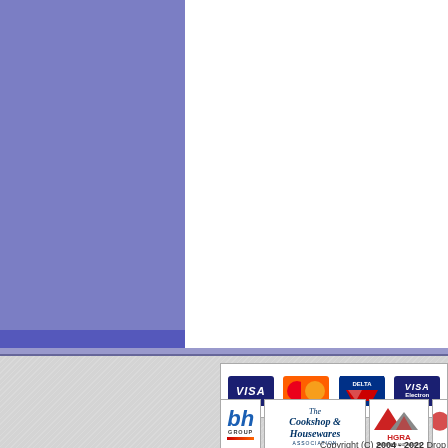[Figure (other): Blue/purple left sidebar column occupying the top-left portion of the page]
[Figure (logo): Payment card logos: VISA, Eurocard MasterCard, DELTA, VISA Electron]
[Figure (logo): BH Group logo]
[Figure (logo): The Cookshop & Housewares Association logo]
[Figure (logo): HGRA Hardware and Garden Retail Association logo]
Copyright (C) 2004 - 2022 Drop